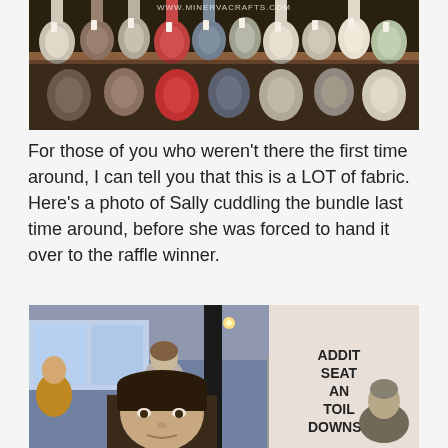[Figure (photo): Photo of fabric rolls on shelves with hanging tags, taken in a fabric store. WWW.MINERVACRAFTS.COM watermark visible at top.]
For those of you who weren't there the first time around, I can tell you that this is a LOT of fabric. Here's a photo of Sally cuddling the bundle last time around, before she was forced to hand it over to the raffle winner.
[Figure (photo): Photo of a woman with dark hair and bangs in a busy indoor venue, with signage in the background reading ADDITIONAL SEATING AND TOILETS DOWNSTAIRS.]